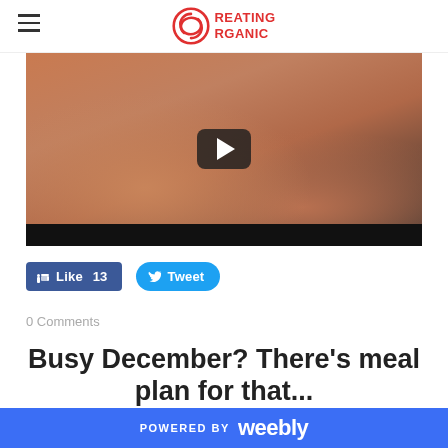Creating Organic
[Figure (screenshot): Video thumbnail showing a small fish or creature being held in a person's hand, with a YouTube-style play button overlay.]
Like 13   Tweet
0 Comments
Busy December? There's meal plan for that...
12/7/2015  0 Comments
POWERED BY weebly